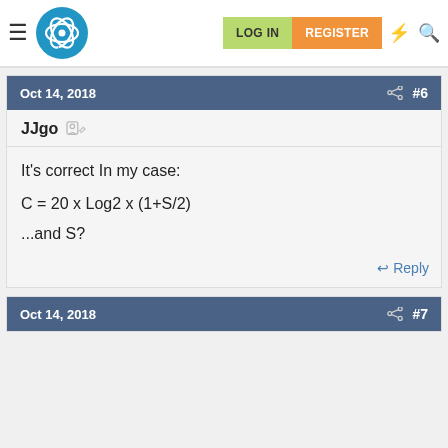LOG IN  REGISTER
Oct 14, 2018  #6
JJgo
It's correct In my case:
...and S?
Oct 14, 2018  #7